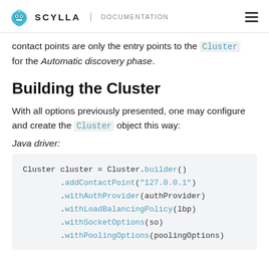SCYLLA | DOCUMENTATION
contact points are only the entry points to the Cluster for the Automatic discovery phase.
Building the Cluster
With all options previously presented, one may configure and create the Cluster object this way:
Java driver:
Cluster cluster = Cluster.builder()
        .addContactPoint("127.0.0.1")
        .withAuthProvider(authProvider)
        .withLoadBalancingPolicy(lbp)
        .withSocketOptions(so)
        .withPoolingOptions(poolingOptions)